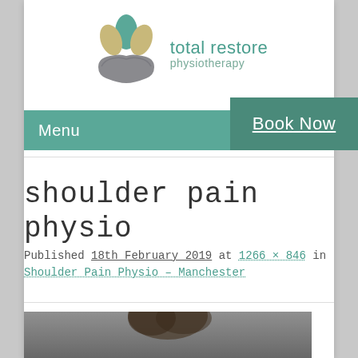[Figure (logo): Total Restore Physiotherapy logo with lotus/hands icon and brand name]
Menu | Book Now
shoulder pain physio
Published 18th February 2019 at 1266 × 846 in Shoulder Pain Physio – Manchester
[Figure (photo): Partial photo of a person at the bottom of the page]